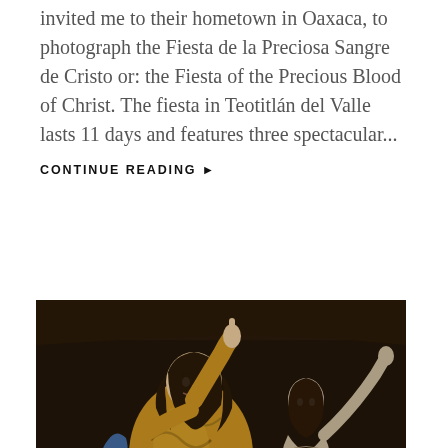invited me to their hometown in Oaxaca, to photograph the Fiesta de la Preciosa Sangre de Cristo or: the Fiesta of the Precious Blood of Christ. The fiesta in Teotitlán del Valle lasts 11 days and features three spectacular...
CONTINUE READING ▶
[Figure (photo): A painted wooden religious statue of an angel figure in a golden robe with intricate swirl patterns, arm raised, next to a pale figure of Christ on the cross, set against a dark stone background.]